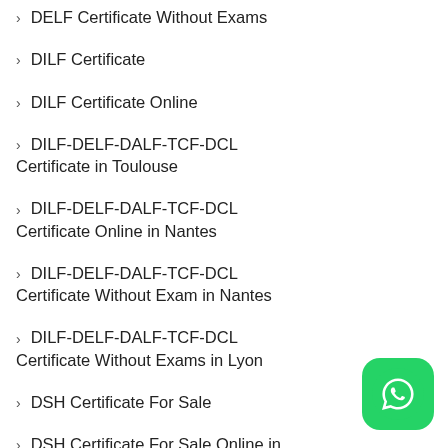DELF Certificate Without Exams
DILF Certificate
DILF Certificate Online
DILF-DELF-DALF-TCF-DCL Certificate in Toulouse
DILF-DELF-DALF-TCF-DCL Certificate Online in Nantes
DILF-DELF-DALF-TCF-DCL Certificate Without Exam in Nantes
DILF-DELF-DALF-TCF-DCL Certificate Without Exams in Lyon
DSH Certificate For Sale
DSH Certificate For Sale Online in Berlin
EU COVID-19 Passport for sale
[Figure (logo): WhatsApp green rounded button icon in bottom-right corner]